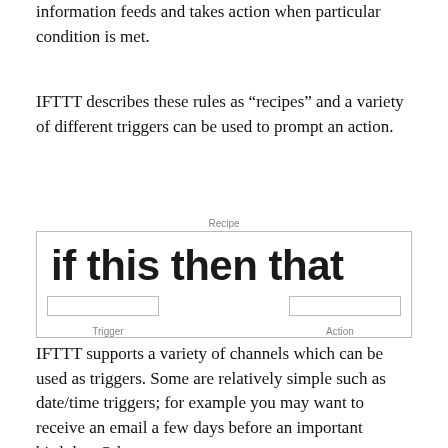information feeds and takes action when particular condition is met.
IFTTT describes these rules as “recipes” and a variety of different triggers can be used to prompt an action.
[Figure (infographic): IFTTT recipe diagram showing 'if this then that' with Trigger and Action labels below boxes]
IFTTT supports a variety of channels which can be used as triggers. Some are relatively simple such as date/time triggers; for example you may want to receive an email a few days before an important birthday. Others are more